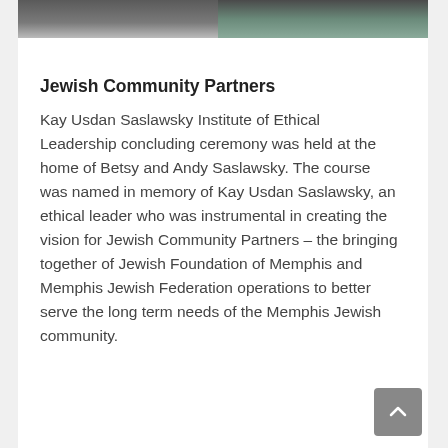[Figure (photo): Cropped photo strip showing people at an event, split into two image sections side by side]
Jewish Community Partners
Kay Usdan Saslawsky Institute of Ethical Leadership concluding ceremony was held at the home of Betsy and Andy Saslawsky. The course was named in memory of Kay Usdan Saslawsky, an ethical leader who was instrumental in creating the vision for Jewish Community Partners – the bringing together of Jewish Foundation of Memphis and Memphis Jewish Federation operations to better serve the long term needs of the Memphis Jewish community.